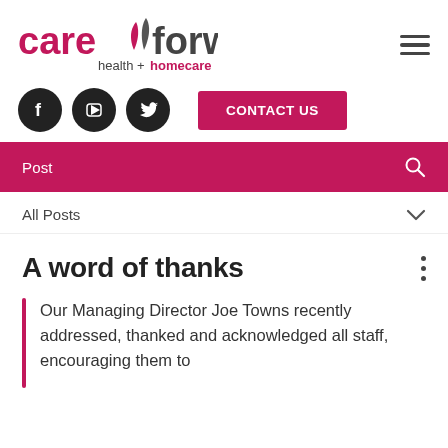[Figure (logo): Care Forward health + homecare logo with leaf icon in pink and grey]
[Figure (infographic): Hamburger menu icon (three horizontal lines)]
[Figure (infographic): Social media icons: Facebook, YouTube, Twitter (black circles) and a pink CONTACT US button]
Post
All Posts
A word of thanks
Our Managing Director Joe Towns recently addressed, thanked and acknowledged all staff, encouraging them to